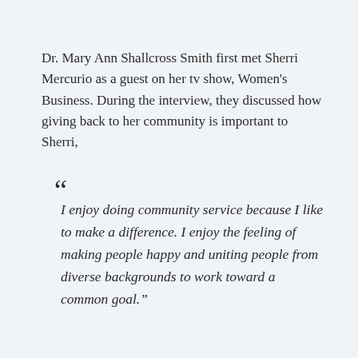Dr. Mary Ann Shallcross Smith first met Sherri Mercurio as a guest on her tv show, Women's Business. During the interview, they discussed how giving back to her community is important to Sherri,
“I enjoy doing community service because I like to make a difference. I enjoy the feeling of making people happy and uniting people from diverse backgrounds to work toward a common goal.”